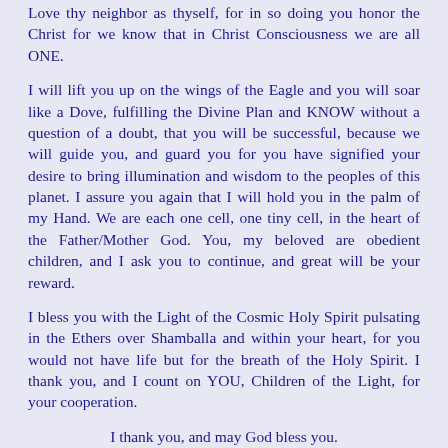Love thy neighbor as thyself, for in so doing you honor the Christ for we know that in Christ Consciousness we are all ONE.
I will lift you up on the wings of the Eagle and you will soar like a Dove, fulfilling the Divine Plan and KNOW without a question of a doubt, that you will be successful, because we will guide you, and guard you for you have signified your desire to bring illumination and wisdom to the peoples of this planet. I assure you again that I will hold you in the palm of my Hand. We are each one cell, one tiny cell, in the heart of the Father/Mother God. You, my beloved are obedient children, and I ask you to continue, and great will be your reward.
I bless you with the Light of the Cosmic Holy Spirit pulsating in the Ethers over Shamballa and within your heart, for you would not have life but for the breath of the Holy Spirit. I thank you, and I count on YOU, Children of the Light, for your cooperation.
I thank you, and may God bless you.
Lady Mercedes